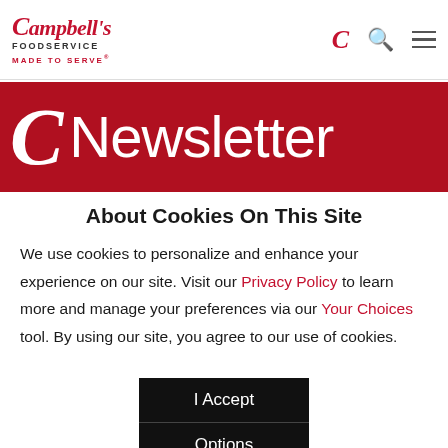Campbell's Foodservice MADE TO SERVE
[Figure (logo): Campbell's Foodservice logo with script lettering and 'MADE TO SERVE' tagline in red]
Newsletter
About Cookies On This Site
We use cookies to personalize and enhance your experience on our site. Visit our Privacy Policy to learn more and manage your preferences via our Your Choices tool. By using our site, you agree to our use of cookies.
I Accept
Options